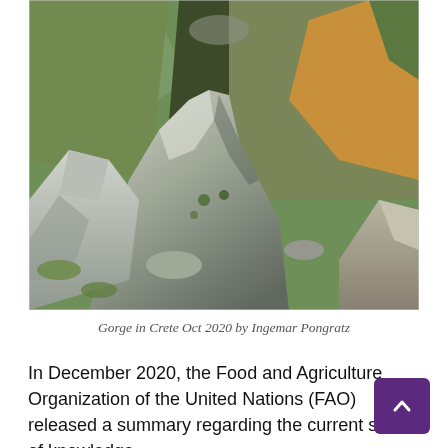[Figure (photo): A rocky gorge in Crete with large grey boulders in the foreground and steep vegetated cliffs in the background, photographed in October 2020.]
Gorge in Crete Oct 2020 by Ingemar Pongratz
In December 2020, the Food and Agriculture Organization of the United Nations (FAO) released a summary regarding the current state of knowledge